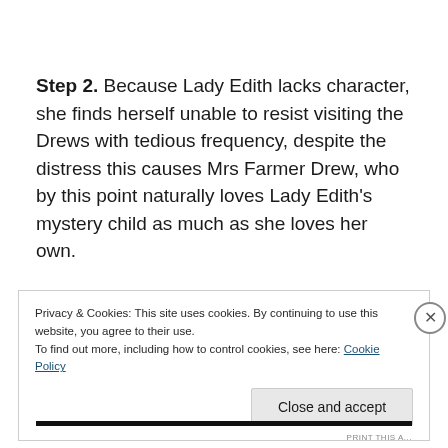Step 2. Because Lady Edith lacks character, she finds herself unable to resist visiting the Drews with tedious frequency, despite the distress this causes Mrs Farmer Drew, who by this point naturally loves Lady Edith's mystery child as much as she loves her own.
Privacy & Cookies: This site uses cookies. By continuing to use this website, you agree to their use.
To find out more, including how to control cookies, see here: Cookie Policy
Close and accept